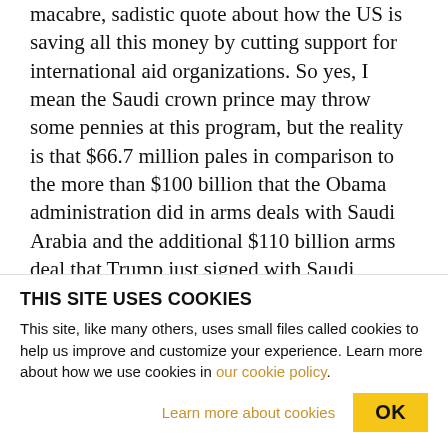macabre, sadistic quote about how the US is saving all this money by cutting support for international aid organizations. So yes, I mean the Saudi crown prince may throw some pennies at this program, but the reality is that $66.7 million pales in comparison to the more than $100 billion that the Obama administration did in arms deals with Saudi Arabia and the additional $110 billion arms deal that Trump just signed with Saudi Arabia. I mean, so Saudi Arabia can't buy $220 billion in weapons and then donate $66 million and claim that it actually cares
THIS SITE USES COOKIES
This site, like many others, uses small files called cookies to help us improve and customize your experience. Learn more about how we use cookies in our cookie policy.
Learn more about cookies